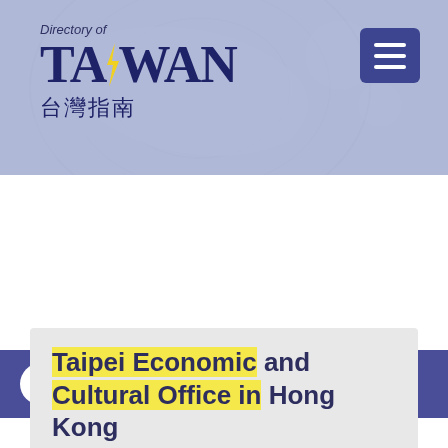Directory of TAIWAN 台灣指南
Economic Division, Taipei F
Home / Search Results
Taipei Economic and Cultural Office in Hong Kong
Suite 4907, 49/F Central Plaza, 18 Harbour Road, Wan Chai, Hong Kong
(002-852)2160-2050
(002-852)2525-2939
hongkong@mail.moe.gov.tw